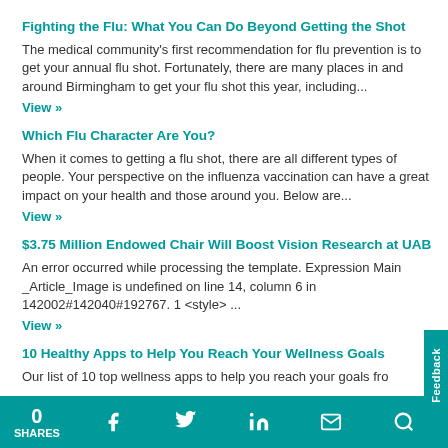Fighting the Flu: What You Can Do Beyond Getting the Shot
The medical community's first recommendation for flu prevention is to get your annual flu shot. Fortunately, there are many places in and around Birmingham to get your flu shot this year, including...
View »
Which Flu Character Are You?
When it comes to getting a flu shot, there are all different types of people. Your perspective on the influenza vaccination can have a great impact on your health and those around you. Below are...
View »
$3.75 Million Endowed Chair Will Boost Vision Research at UAB
An error occurred while processing the template. Expression Main _Article_Image is undefined on line 14, column 6 in 142002#142040#192767. 1 <style>  ...
View »
10 Healthy Apps to Help You Reach Your Wellness Goals
Our list of 10 top wellness apps to help you reach your goals fro
0 SHARES  f  [twitter]  in  [mail]  [search]  Feedback